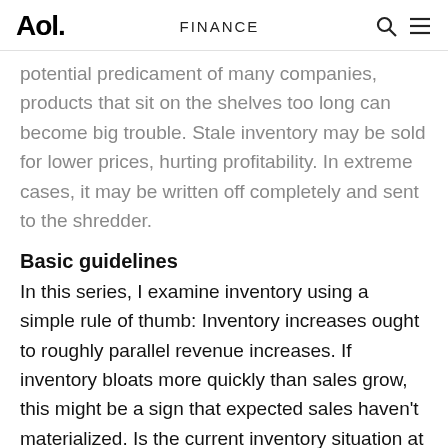Aol. | FINANCE
potential predicament of many companies, products that sit on the shelves too long can become big trouble. Stale inventory may be sold for lower prices, hurting profitability. In extreme cases, it may be written off completely and sent to the shredder.
Basic guidelines
In this series, I examine inventory using a simple rule of thumb: Inventory increases ought to roughly parallel revenue increases. If inventory bloats more quickly than sales grow, this might be a sign that expected sales haven't materialized. Is the current inventory situation at Medicis Pharmaceutical (NYS: MRX) out of line? To figure that out, start by comparing the company's inventory growth to sales growth. How is Medicis Pharmaceutical doing by this quick checkup? At first glance, pretty well. Trailing-12-month revenue increased